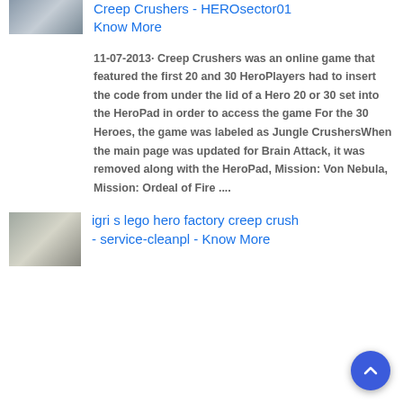[Figure (photo): Small thumbnail image of a LEGO-related item, grey/silver colored object]
Creep Crushers - HEROsector01 Know More
11-07-2013· Creep Crushers was an online game that featured the first 20 and 30 HeroPlayers had to insert the code from under the lid of a Hero 20 or 30 set into the HeroPad in order to access the game For the 30 Heroes, the game was labeled as Jungle CrushersWhen the main page was updated for Brain Attack, it was removed along with the HeroPad, Mission: Von Nebula, Mission: Ordeal of Fire ....
[Figure (photo): Small thumbnail image showing a LEGO piece, dark background with a round grey/white LEGO element]
igri s lego hero factory creep crush - service-cleanpl - Know More